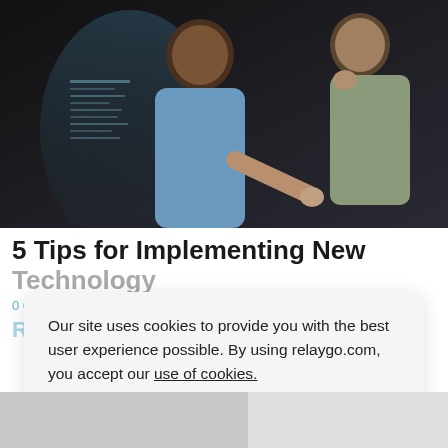[Figure (photo): Two men looking at a glowing screen with code/data visualization. One man in a light blue shirt points at the screen; another man with his hand on his chin stands behind. Dark moody lighting.]
5 Tips for Implementing New Technology
0 Comments / August 4, 2021
Read more...
Our site uses cookies to provide you with the best user experience possible. By using relaygo.com, you accept our use of cookies.
Dismiss
[Figure (photo): Partial view of another photo strip at the bottom of the page, mostly gray/blurred.]